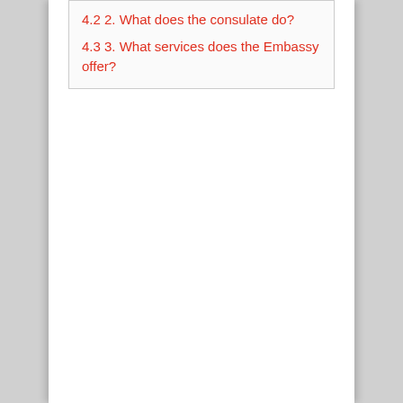4.2 2. What does the consulate do?
4.3 3. What services does the Embassy offer?